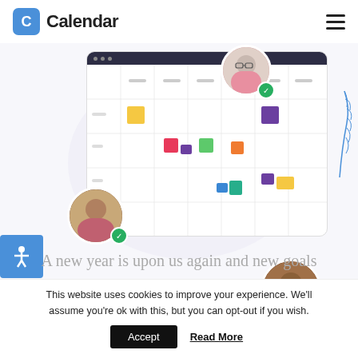[Figure (logo): Calendar app logo: blue rounded square with white C, text 'Calendar']
[Figure (screenshot): Calendar web app screenshot showing a weekly/monthly grid with colored event blocks and user avatar circles with green/purple checkmarks. An accessibility icon (person with arms out) on a blue square is shown bottom-left. A decorative blue leaf/branch is shown on the right side.]
A new year is upon us again and new goals
This website uses cookies to improve your experience. We'll assume you're ok with this, but you can opt-out if you wish.
Accept   Read More